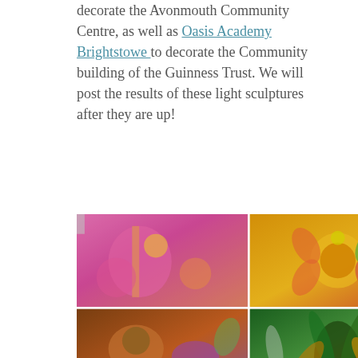decorate the Avonmouth Community Centre, as well as Oasis Academy Brightstowe to decorate the Community building of the Guinness Trust. We will post the results of these light sculptures after they are up!
[Figure (photo): Four photos arranged in a 2x2 grid showing colorful craft/art pieces with glitter, feathers, ribbons and decorative elements in bright pinks, oranges, greens and golds — light sculpture crafts]
Another fun project has been a partnership with United Communities and the Easton Energy Group as well as the Bristol Energy Co-Op, creating Xmas decorations for Treefest at St. Mary's Radcliffe Church. We